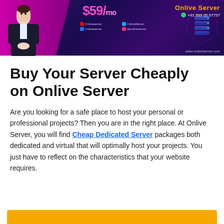[Figure (infographic): Onlive Server promotional banner with dark purple/navy background, magenta accent on left, person in dark suit, price $59/mo in pink, social media icons, 3D server graphic, brand name 'Onlive Server' in orange, WhatsApp number +91 999 05 07737, website www.onliveserver.com]
Buy Your Server Cheaply on Onlive Server
Are you looking for a safe place to host your personal or professional projects? Then you are in the right place. At Onlive Server, you will find Cheap Dedicated Server packages both dedicated and virtual that will optimally host your projects. You just have to reflect on the characteristics that your website requires.